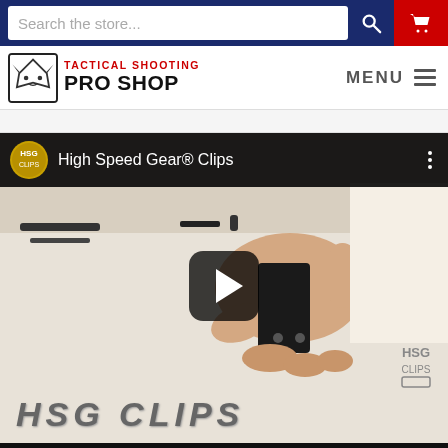Search the store
[Figure (logo): Tactical Shooting Pro Shop logo with fox icon]
MENU
[Figure (screenshot): YouTube video thumbnail for High Speed Gear Clips showing a hand holding a black clip, with HSG CLIPS text at the bottom]